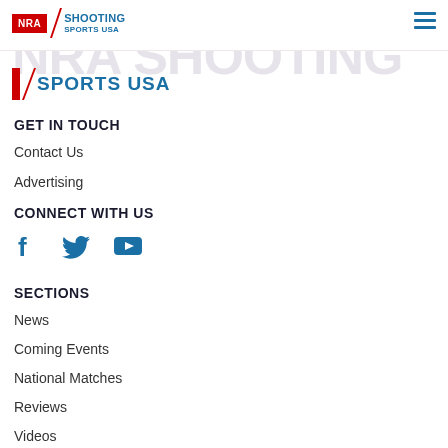NRA SHOOTING SPORTS USA — navigation header with logo and hamburger menu
[Figure (logo): NRA Shooting Sports USA logo with red background NRA text and blue Shooting Sports USA text]
GET IN TOUCH
Contact Us
Advertising
CONNECT WITH US
[Figure (illustration): Social media icons: Facebook, Twitter, YouTube in blue]
SECTIONS
News
Coming Events
National Matches
Reviews
Videos